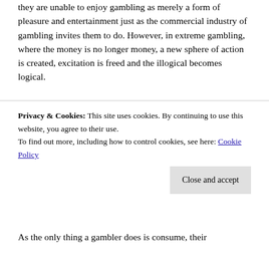they are unable to enjoy gambling as merely a form of pleasure and entertainment just as the commercial industry of gambling invites them to do. However, in extreme gambling, where the money is no longer money, a new sphere of action is created, excitation is freed and the illogical becomes logical.
The rational choice model underlying utilitarianism states that individual actions are the consequences of a motive. In line with this, excess gambling is irrational and, which is the same, immoral, both for an industrial society where it stands as an example of unproductive activity, and a post-industrial consumerist one where the dysfunctional
Privacy & Cookies: This site uses cookies. By continuing to use this website, you agree to their use.
To find out more, including how to control cookies, see here: Cookie Policy
Close and accept
As the only thing a gambler does is consume, their